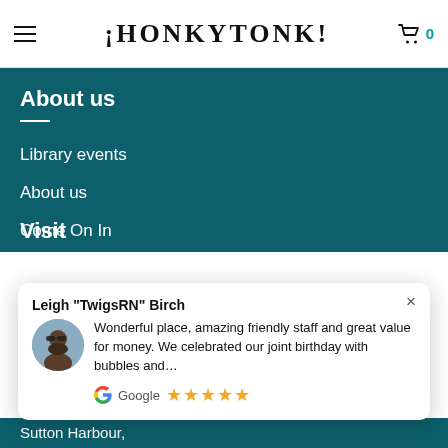¡HONKYTONK!
About us
Library events
About us
Come On In
Food menu
Drinks menu
Vacancies
Visit
Leigh "TwigsRN" Birch
Wonderful place, amazing friendly staff and great value for money. We celebrated our joint birthday with bubbles and…
Google ★★★★★
Sutton Harbour,